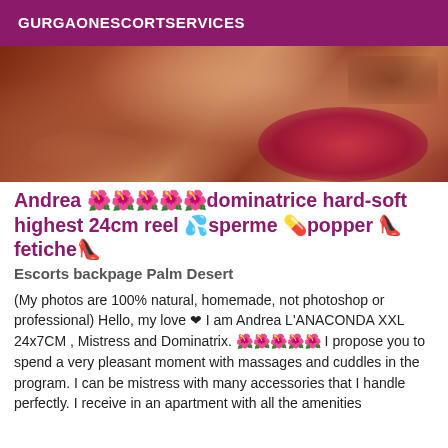GURGAONESCORTSERVICES
[Figure (photo): Close-up photo of a person with warm skin tones against a pink/magenta background]
Andrea 🌺🌺🌺🌺🌺dominatrice hard-soft highest 24cm reel 💦sperme 💊popper 👠fetiche👠
Escorts backpage Palm Desert
(My photos are 100% natural, homemade, not photoshop or professional) Hello, my love ❤ I am Andrea L'ANACONDA XXL 24x7CM , Mistress and Dominatrix. 🌺🌺🌺🌺🌺 I propose you to spend a very pleasant moment with massages and cuddles in the program. I can be mistress with many accessories that I handle perfectly. I receive in an apartment with all the amenities